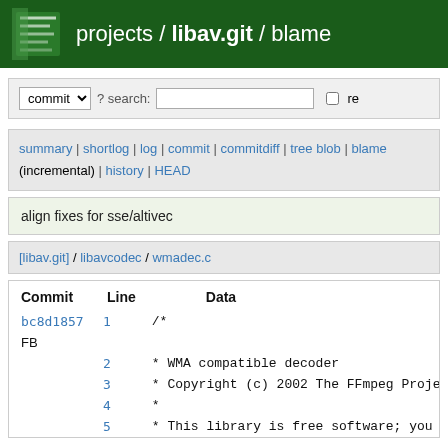projects / libav.git / blame
commit ? search: re
summary | shortlog | log | commit | commitdiff | tree blob | blame (incremental) | history | HEAD
align fixes for sse/altivec
[libav.git] / libavcodec / wmadec.c
| Commit | Line | Data |
| --- | --- | --- |
| bc8d1857 | 1 | /* |
| FB |  |  |
|  | 2 | * WMA compatible decoder |
|  | 3 | * Copyright (c) 2002 The FFmpeg Project. |
|  | 4 | * |
|  | 5 | * This library is free software; you can |